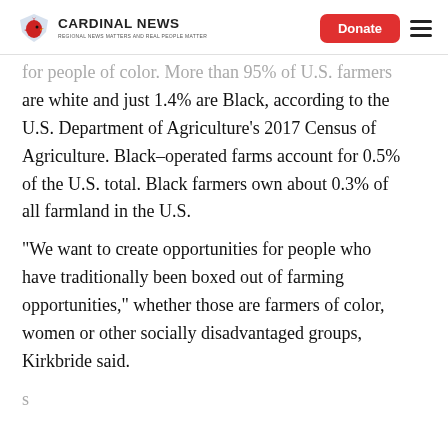Cardinal News | Donate
for people of color. More than 95% of U.S. farmers are white and just 1.4% are Black, according to the U.S. Department of Agriculture’s 2017 Census of Agriculture. Black-operated farms account for 0.5% of the U.S. total. Black farmers own about 0.3% of all farmland in the U.S.
“We want to create opportunities for people who have traditionally been boxed out of farming opportunities,” whether those are farmers of color, women or other socially disadvantaged groups, Kirkbride said.